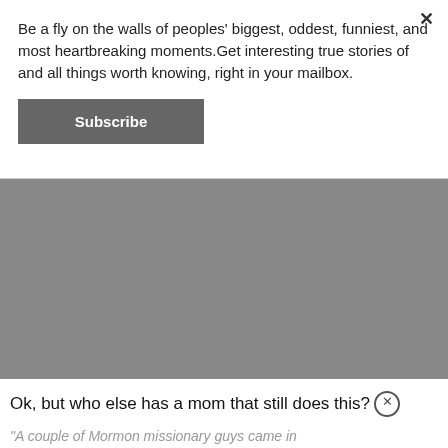Be a fly on the walls of peoples' biggest, oddest, funniest, and most heartbreaking moments.Get interesting true stories of and all things worth knowing, right in your mailbox.
Subscribe
[Figure (other): Gray rectangular advertisement or image area]
Ok, but who else has a mom that still does this?
"A couple of Mormon missionary guys came in